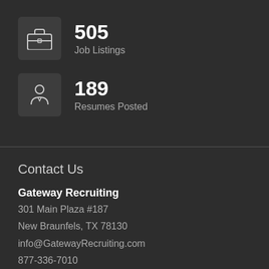[Figure (infographic): Icon box with briefcase icon showing 505 Job Listings stat]
505
Job Listings
[Figure (infographic): Icon box with person/resume icon showing 189 Resumes Posted stat]
189
Resumes Posted
Contact Us
Gateway Recruiting
301 Main Plaza #187
New Braunfels, TX 78130
info@GatewayRecruiting.com
877-336-7010
Industries